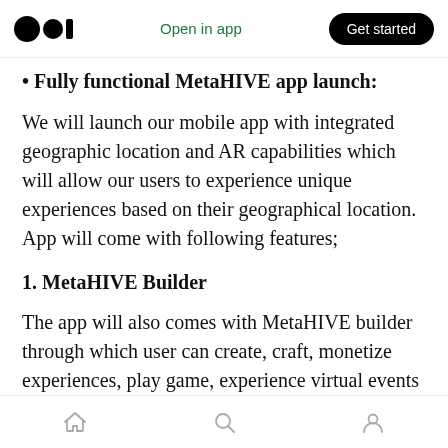Medium logo | Open in app | Get started
• Fully functional MetaHIVE app launch:
We will launch our mobile app with integrated geographic location and AR capabilities which will allow our users to experience unique experiences based on their geographical location. App will come with following features;
1. MetaHIVE Builder
The app will also comes with MetaHIVE builder through which user can create, craft, monetize experiences, play game, experience virtual events
Home | Search | Profile